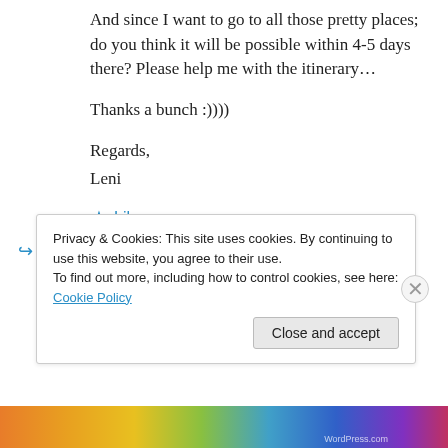And since I want to go to all those pretty places; do you think it will be possible within 4-5 days there? Please help me with the itinerary…
Thanks a bunch :))))
Regards,
Leni
★ Like
↪ Reply
Privacy & Cookies: This site uses cookies. By continuing to use this website, you agree to their use.
To find out more, including how to control cookies, see here: Cookie Policy
Close and accept